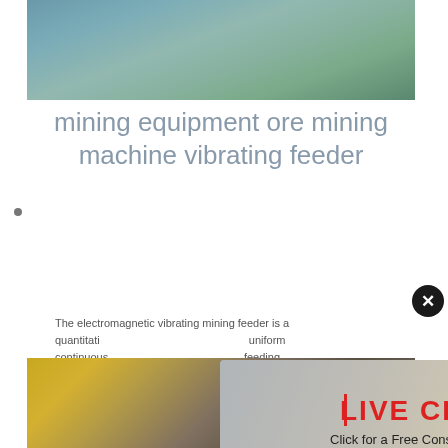[Figure (photo): Top photograph showing mining/earthmoving equipment or quarry scene with grey and green tones]
mining equipment ore mining machine vibrating feeder
[Figure (photo): Live chat popup overlay showing workers in hard hats with LIVE CHAT text, Chat now and Chat later buttons]
The electromagnetic vibrating mining feeder is a quantitative continuous feeding for metallurgy...
ave any requests, click here.
Quotation
Enquiry
limingjlmofen@sina.com
[Figure (photo): Bottom photograph showing industrial mining machinery with large yellow wheel/drum components]